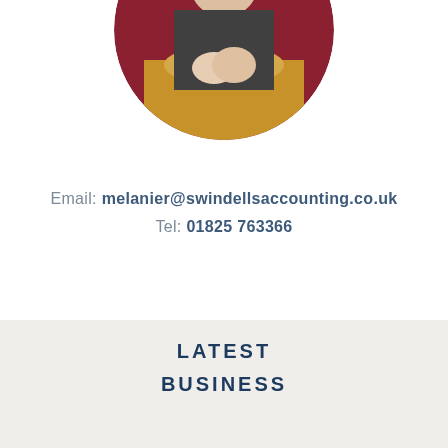[Figure (photo): Circular cropped photo of a woman in a dark top sitting at a wooden table with hands clasped, dark red/burgundy background]
Email: melanier@swindellsaccounting.co.uk
Tel: 01825 763366
LATEST
BUSINESS